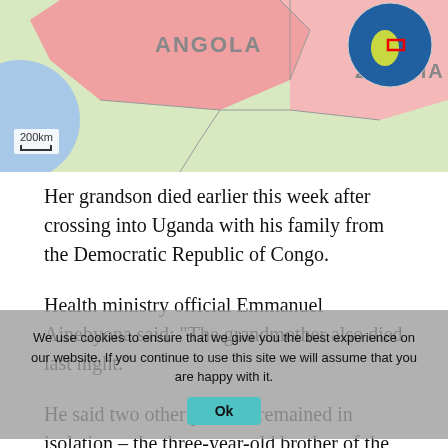[Figure (map): Map showing Angola and Zambia region in southern Africa, with a globe inset showing the location of the region (highlighted with a red rectangle) on the African continent. A scale bar showing 200km is displayed in the lower left of the map.]
Her grandson died earlier this week after crossing into Uganda with his family from the Democratic Republic of Congo.
Health ministry official Emmanuel Ainebyona said: "The grandmother also died last night."
He said two other patients remained in isolation – the three-year-old brother of the dead boy and a 23-year-old Ugandan man who has developed Ebola symptoms.
We use cookies to ensure that we give you the best experience on our website. If you continue to use this site we will assume that you are happy with it.
Ok
Test results for the 23-year old are expected later today, he said, adding that a total of 27 people are now